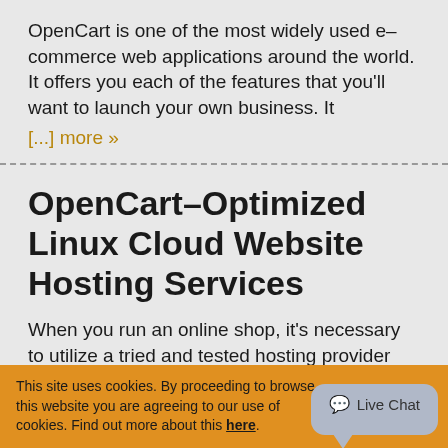OpenCart is one of the most widely used e–commerce web applications around the world. It offers you each of the features that you'll want to launch your own business. It [...] more »
OpenCart–Optimized Linux Cloud Website Hosting Services
When you run an online shop, it's necessary to utilize a tried and tested hosting provider which will ensure that your web site will become working, in all cases. At TP [...] more »
A Point & Click Control Panel...
This site uses cookies. By proceeding to browse this website you are agreeing to our use of cookies. Find out more about this here.